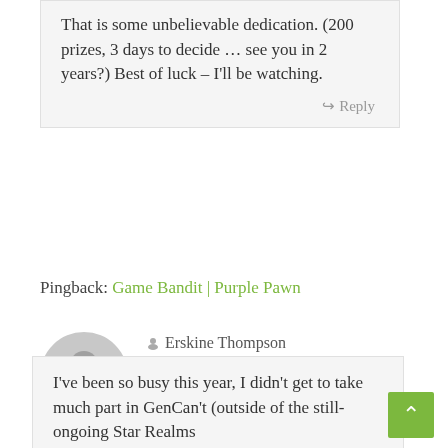That is some unbelievable dedication. (200 prizes, 3 days to decide … see you in 2 years?) Best of luck – I'll be watching.
↳ Reply
Pingback: Game Bandit | Purple Pawn
Erskine Thompson
August 20, 2017 at 5:10 pm
Permalink
I've been so busy this year, I didn't get to take much part in GenCan't (outside of the still-ongoing Star Realms